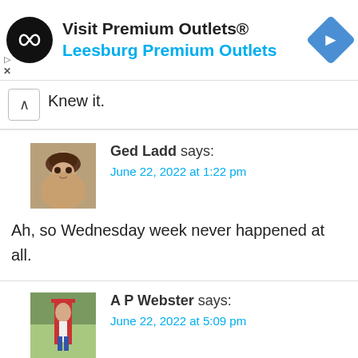[Figure (infographic): Advertisement banner for Visit Premium Outlets / Leesburg Premium Outlets with circular black logo with infinity-like symbol and blue diamond navigation arrow icon]
Knew it.
[Figure (photo): Avatar photo of Ged Ladd showing a person with dark curly hair]
Ged Ladd says:
June 22, 2022 at 1:22 pm
Ah, so Wednesday week never happened at all.
[Figure (photo): Avatar photo of A P Webster showing a cricket player]
A P Webster says:
June 22, 2022 at 5:09 pm